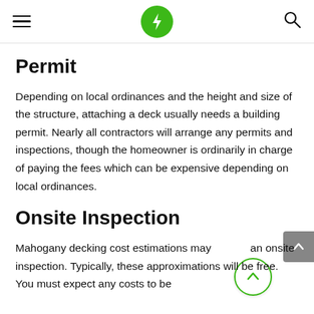Navigation header with hamburger menu, green lightning bolt logo, and search icon
Permit
Depending on local ordinances and the height and size of the structure, attaching a deck usually needs a building permit. Nearly all contractors will arrange any permits and inspections, though the homeowner is ordinarily in charge of paying the fees which can be expensive depending on local ordinances.
Onsite Inspection
Mahogany decking cost estimations may require an onsite inspection. Typically, these approximations will be free. You must expect any costs to be